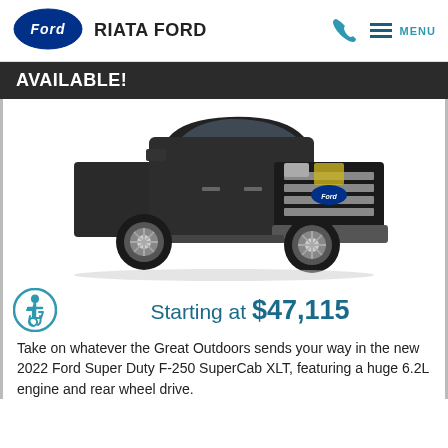[Figure (logo): Ford oval blue logo with Ford script]
RIATA FORD
AVAILABLE!
[Figure (photo): 2022 Ford Super Duty F-250 SuperCab XLT truck in dark grey/black, front 3/4 view on white background]
Starting at $47,115
Take on whatever the Great Outdoors sends your way in the new 2022 Ford Super Duty F-250 SuperCab XLT, featuring a huge 6.2L engine and rear wheel drive.